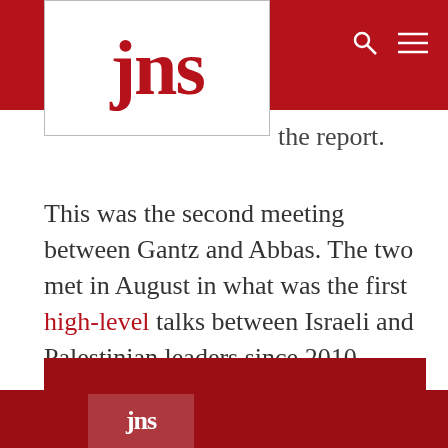jns
the report.
This was the second meeting between Gantz and Abbas. The two met in August in what was the first high-level talks between Israeli and Palestinian leaders since 2010.
Republish this article
jns